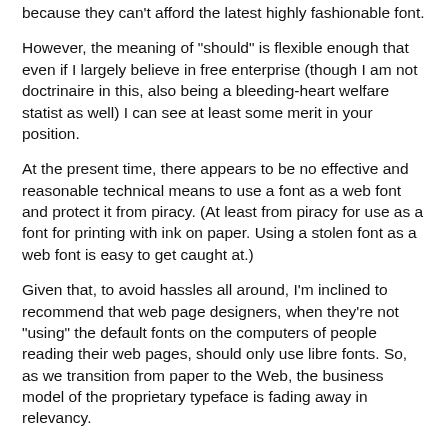because they can't afford the latest highly fashionable font.
However, the meaning of "should" is flexible enough that even if I largely believe in free enterprise (though I am not doctrinaire in this, also being a bleeding-heart welfare statist as well) I can see at least some merit in your position.
At the present time, there appears to be no effective and reasonable technical means to use a font as a web font and protect it from piracy. (At least from piracy for use as a font for printing with ink on paper. Using a stolen font as a web font is easy to get caught at.)
Given that, to avoid hassles all around, I'm inclined to recommend that web page designers, when they're not "using" the default fonts on the computers of people reading their web pages, should only use libre fonts. So, as we transition from paper to the Web, the business model of the proprietary typeface is fading away in relevancy.
So while I can't really come up with a moral reason why fonts should be free, I can see a practical reason why things are moving in that direction. Currently, it seems that the main role of novel